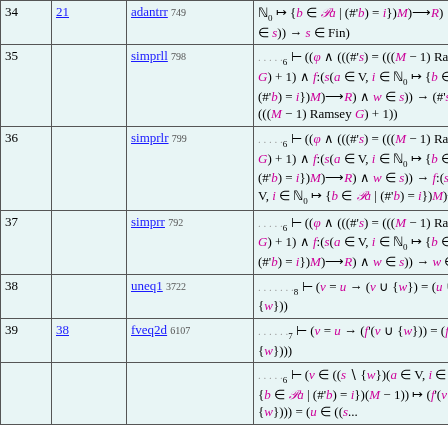| # | Ref | Rule | Statement |
| --- | --- | --- | --- |
| 34 | 21 | adantrr 749 | ℕ₀ ↦ {b ∈ 𝒫a | (#'b) = i})M)⟶R) ∧ w ∈ s)) → s ∈ Fin) |
| 35 |  | simprll 798 | .....6 ⊢ ((φ ∧ (((#'s) = (((M − 1) Ramsey G) + 1) ∧ f:(s(a ∈ V, i ∈ ℕ₀ ↦ {b ∈ 𝒫a | (#'b) = i})M)⟶R) ∧ w ∈ s)) → (#'s) = (((M − 1) Ramsey G) + 1)) |
| 36 |  | simprlr 799 | .....6 ⊢ ((φ ∧ (((#'s) = (((M − 1) Ramsey G) + 1) ∧ f:(s(a ∈ V, i ∈ ℕ₀ ↦ {b ∈ 𝒫a | (#'b) = i})M)⟶R) ∧ w ∈ s)) → f:(s(a ∈ V, i ∈ ℕ₀ ↦ {b ∈ 𝒫a | (#'b) = i})M)⟶R) |
| 37 |  | simprr 792 | .....6 ⊢ ((φ ∧ (((#'s) = (((M − 1) Ramsey G) + 1) ∧ f:(s(a ∈ V, i ∈ ℕ₀ ↦ {b ∈ 𝒫a | (#'b) = i})M)⟶R) ∧ w ∈ s)) → w ∈ s) |
| 38 |  | uneq1 3722 | .......8 ⊢ (v = u → (v ∪ {w}) = (u ∪ {w})) |
| 39 | 38 | fveq2d 6107 | ......7 ⊢ (v = u → (f'(v ∪ {w})) = (f'(u ∪ {w}))) |
| 40 |  |  | .....6 ⊢ (v ∈ ((s ∖ {w})(a ∈ V, i ∈ ℕ₀ ↦ {b ∈ 𝒫a | (#'b) = i})(M − 1)) ↦ (f'(v ∪ {w}))) = (u ∈ ((s... |